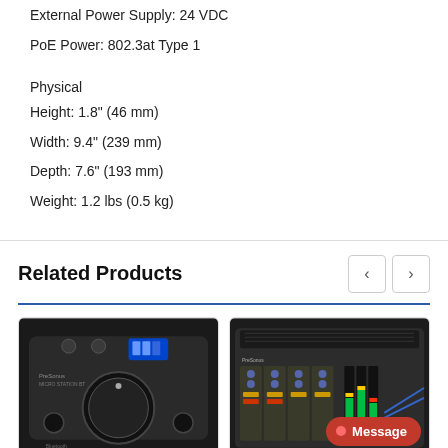External Power Supply: 24 VDC
PoE Power: 802.3at Type 1
Physical
Height: 1.8" (46 mm)
Width: 9.4" (239 mm)
Depth: 7.6" (193 mm)
Weight: 1.2 lbs (0.5 kg)
Related Products
[Figure (photo): PreSonus Micro Station BT desktop monitor controller product photo, top-down view showing large volume knob and Bluetooth display]
[Figure (photo): PreSonus audio mixer/interface product photo showing mixing console with faders and meters, with Message chat badge overlay]